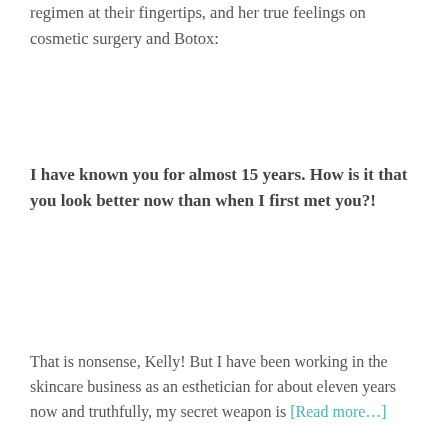regimen at their fingertips, and her true feelings on cosmetic surgery and Botox:
I have known you for almost 15 years. How is it that you look better now than when I first met you?!
That is nonsense, Kelly! But I have been working in the skincare business as an esthetician for about eleven years now and truthfully, my secret weapon is [Read more…]
Filed Under: Fashion For You, Sunny Style
Tagged With: Allison Marks, Arcona, Botox, cosmetic surgery, fillers, Fred Segal, Hydrating Serum, Jamie-Lynn Siegler, number one beauty mistake, raspberry resurfacing peel, retin A, skin studio, skin treatment, wine